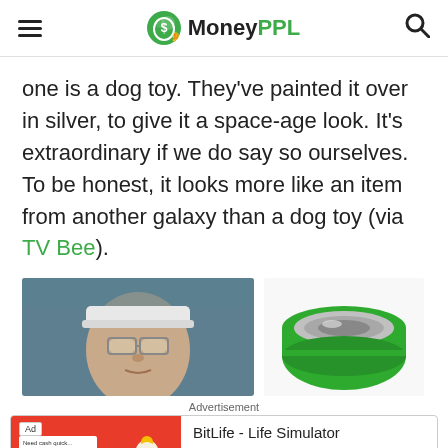MoneyPPL
one is a dog toy. They've painted it over in silver, to give it a space-age look. It's extraordinary if we do say so ourselves. To be honest, it looks more like an item from another galaxy than a dog toy (via TV Bee).
[Figure (photo): Left: photo of a person wearing white headband and glasses, looking down. Right: green bowl with metallic silver interior.]
Advertisement
[Figure (screenshot): Advertisement banner for BitLife - Life Simulator app with red background on left showing game graphics and Install! button on right.]